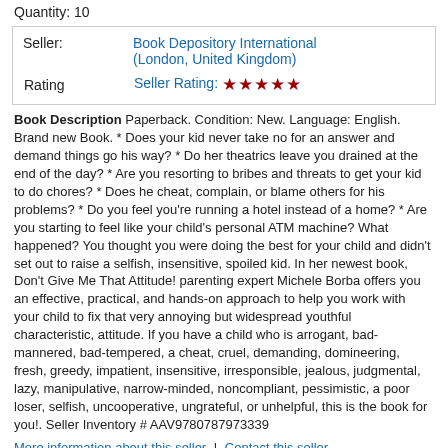Quantity: 10
| Seller: | Book Depository International (London, United Kingdom) |
| Rating | Seller Rating: ★★★★★ |
Book Description Paperback. Condition: New. Language: English. Brand new Book. * Does your kid never take no for an answer and demand things go his way? * Do her theatrics leave you drained at the end of the day? * Are you resorting to bribes and threats to get your kid to do chores? * Does he cheat, complain, or blame others for his problems? * Do you feel you're running a hotel instead of a home? * Are you starting to feel like your child's personal ATM machine? What happened? You thought you were doing the best for your child and didn't set out to raise a selfish, insensitive, spoiled kid. In her newest book, Don't Give Me That Attitude! parenting expert Michele Borba offers you an effective, practical, and hands-on approach to help you work with your child to fix that very annoying but widespread youthful characteristic, attitude. If you have a child who is arrogant, bad-mannered, bad-tempered, a cheat, cruel, demanding, domineering, fresh, greedy, impatient, insensitive, irresponsible, jealous, judgmental, lazy, manipulative, narrow-minded, noncompliant, pessimistic, a poor loser, selfish, uncooperative, ungrateful, or unhelpful, this is the book for you!. Seller Inventory # AAV9780787973339
More information about this seller | Contact this seller